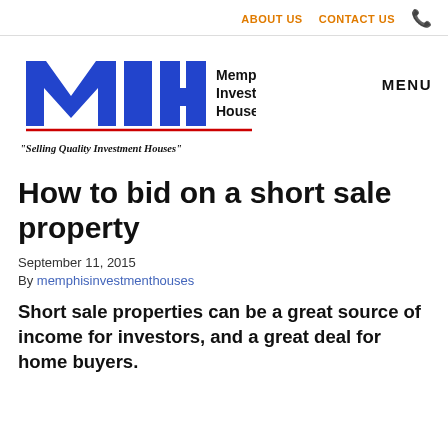ABOUT US   CONTACT US
[Figure (logo): Memphis Investment Houses (MIH) logo with blue stylized letters M, I, H and company name, with tagline 'Selling Quality Investment Houses']
How to bid on a short sale property
September 11, 2015
By memphisinvestmenthouses
Short sale properties can be a great source of income for investors, and a great deal for home buyers.